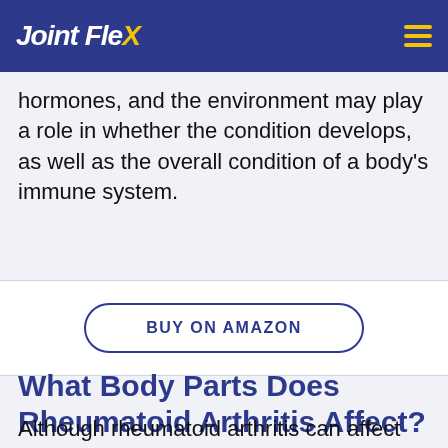JointFlex
hormones, and the environment may play a role in whether the condition develops, as well as the overall condition of a body's immune system.
BUY ON AMAZON
What Body Parts Does Rheumatoid Arthritis Affect?
Although rheumatoid arthritis can affect any joint in the body, it is most common in the hands and feet. Research suggests that it...